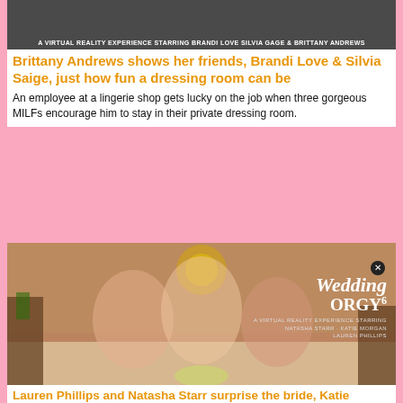[Figure (photo): Top promotional image for VR adult content featuring Brandi Love, Silvia Saige & Brittany Andrews]
Brittany Andrews shows her friends, Brandi Love & Silvia Saige, just how fun a dressing room can be
An employee at a lingerie shop gets lucky on the job when three gorgeous MILFs encourage him to stay in their private dressing room.
[Figure (photo): Wedding Orgy 6 VR promotional image featuring Natasha Starr, Katie Morgan, Lauren Phillips in lingerie on a bed with Wedding Orgy 6 overlay text]
Lauren Phillips and Natasha Starr surprise the bride, Katie Morgan, with the hot stripper they saw for the bachelorette party